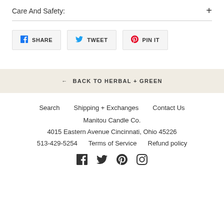Care And Safety:
SHARE   TWEET   PIN IT
← BACK TO HERBAL + GREEN
Search   Shipping + Exchanges   Contact Us
Manitou Candle Co.
4015 Eastern Avenue Cincinnati, Ohio 45226
513-429-5254   Terms of Service   Refund policy